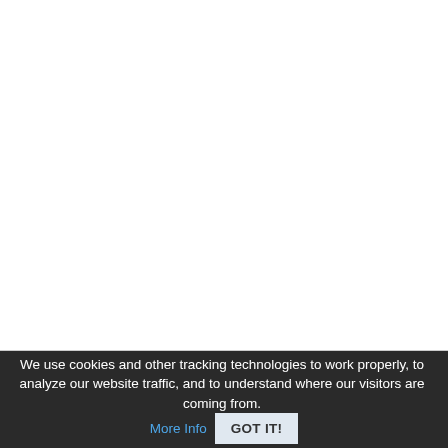We use cookies and other tracking technologies to work properly, to analyze our website traffic, and to understand where our visitors are coming from. More Info GOT IT!